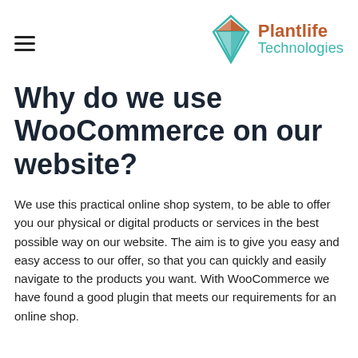[Figure (logo): Plantlife Technologies logo with a diamond/leaf SVG icon in orange and teal, with 'Plantlife' in orange bold text and 'Technologies' in teal below]
Why do we use WooCommerce on our website?
We use this practical online shop system, to be able to offer you our physical or digital products or services in the best possible way on our website. The aim is to give you easy and easy access to our offer, so that you can quickly and easily navigate to the products you want. With WooCommerce we have found a good plugin that meets our requirements for an online shop.